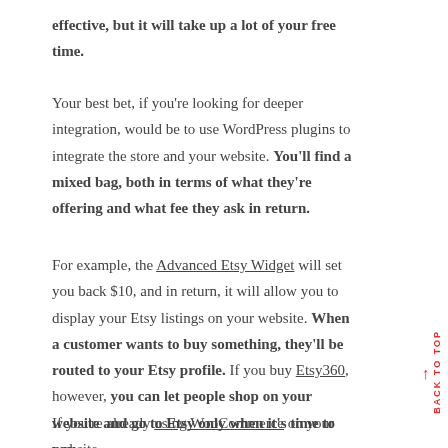effective, but it will take up a lot of your free time.
Your best bet, if you're looking for deeper integration, would be to use WordPress plugins to integrate the store and your website. You'll find a mixed bag, both in terms of what they're offering and what fee they ask in return.
For example, the Advanced Etsy Widget will set you back $10, and in return, it will allow you to display your Etsy listings on your website. When a customer wants to buy something, they'll be routed to your Etsy profile. If you buy Etsy360, however, you can let people shop on your website and go to Etsy only when it's time to pay.
If you're already using WooCommerce on your website,